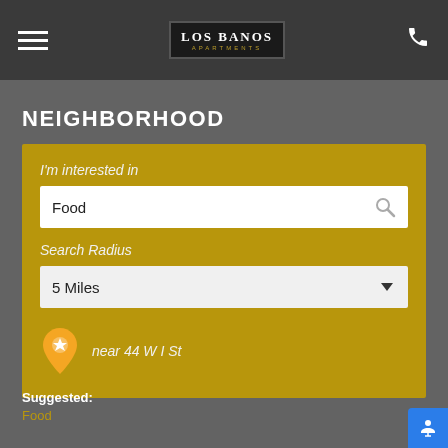Los Banos Apartments — navigation header with hamburger menu and phone icon
NEIGHBORHOOD
[Figure (screenshot): Neighborhood search widget with 'I'm interested in' text input showing 'Food', a Search Radius dropdown showing '5 Miles', and a location pin showing 'near 44 W I St']
Suggested:
Food